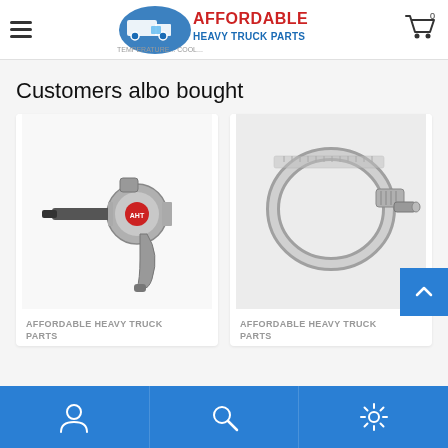AFFORDABLE HEAVY TRUCK PARTS — website header with hamburger menu and cart icon
Customers albo bought
[Figure (photo): Photo of a pneumatic impact wrench tool, silver/grey metallic, on white background — product listing card 1]
AFFORDABLE HEAVY TRUCK PARTS
[Figure (photo): Photo of a stainless steel hose clamp on white/light grey background — product listing card 2]
AFFORDABLE HEAVY TRUCK PARTS
Bottom navigation bar with person (account), search, and settings icons